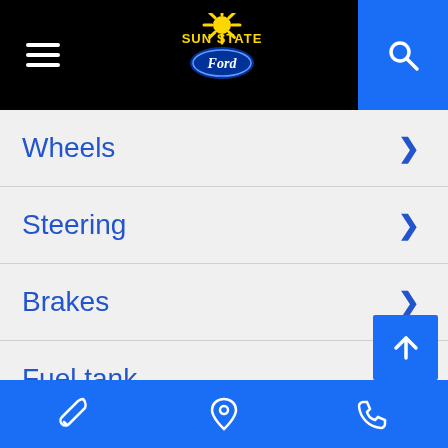[Figure (logo): Sun State Ford dealership logo with sun graphic and Ford oval emblem]
Wheels
Steering
Brakes
Fuel tank
Exterior dimensions